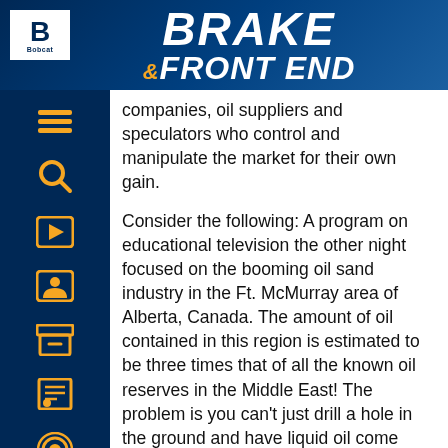BRAKE & FRONT END
companies, oil suppliers and speculators who control and manipulate the market for their own gain.
Consider the following: A program on educational television the other night focused on the booming oil sand industry in the Ft. McMurray area of Alberta, Canada. The amount of oil contained in this region is estimated to be three times that of all the known oil reserves in the Middle East! The problem is you can’t just drill a hole in the ground and have liquid oil come gushing out. The sand has to be dug up, hauled to a processing plant and cooked to extract the oil. The Canadians say the process is profitable when oil sells above $22 a barrel, so at today’s price of $72 a barrel